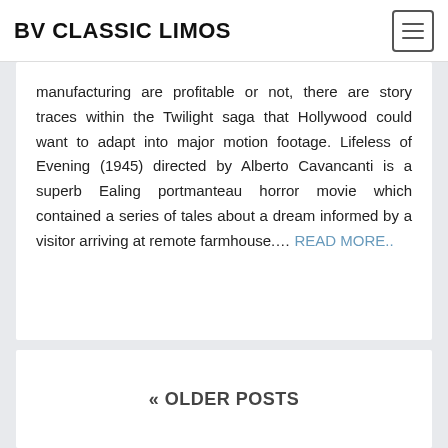BV CLASSIC LIMOS
manufacturing are profitable or not, there are story traces within the Twilight saga that Hollywood could want to adapt into major motion footage. Lifeless of Evening (1945) directed by Alberto Cavancanti is a superb Ealing portmanteau horror movie which contained a series of tales about a dream informed by a visitor arriving at remote farmhouse.... READ MORE..
« OLDER POSTS